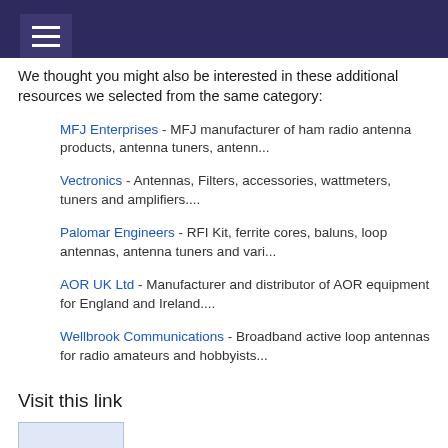We thought you might also be interested in these additional resources we selected from the same category:
MFJ Enterprises - MFJ manufacturer of ham radio antenna products, antenna tuners, antenn...
Vectronics - Antennas, Filters, accessories, wattmeters, tuners and amplifiers....
Palomar Engineers - RFI Kit, ferrite cores, baluns, loop antennas, antenna tuners and vari...
AOR UK Ltd - Manufacturer and distributor of AOR equipment for England and Ireland....
Wellbrook Communications - Broadband active loop antennas for radio amateurs and hobbyists...
Visit this link
[Figure (screenshot): Small screenshot thumbnail of a website]